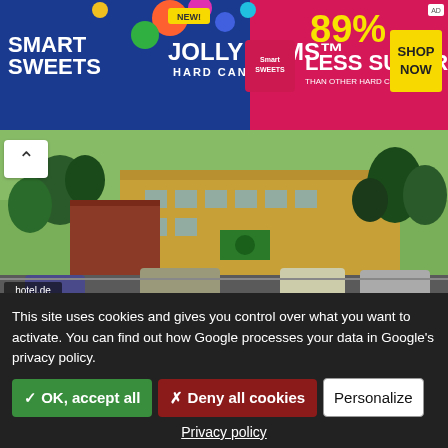[Figure (photo): Smart Sweets Jolly Gems Hard Candy advertisement banner with colorful candy imagery, text '89% LESS SUGAR THAN OTHER HARD CANDIES', 'NEW!' badge, and 'SHOP NOW' yellow button]
[Figure (photo): Exterior photo of La Quinta Inn hotel building with parking lot, cars, and trees visible. Source label: hotel.de]
La Quinta Inn Ste Portland AP
Portland
13.86
kilometres
from 167,17 EUR
per room and night
This site uses cookies and gives you control over what you want to activate. You can find out how Google processes your data in Google's privacy policy.
✓ OK, accept all
✗ Deny all cookies
Personalize
Privacy policy